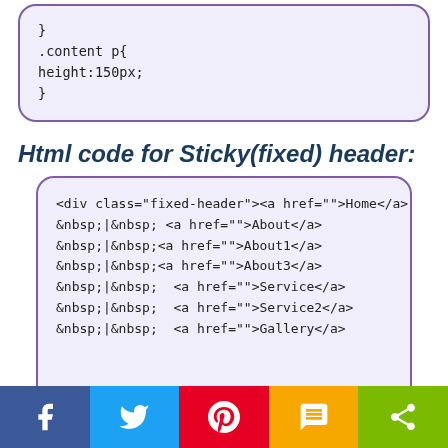[Figure (screenshot): Code box showing CSS snippet: .content p{ height:150px; }]
Html code for Sticky(fixed) header:
[Figure (screenshot): Code box showing HTML snippet for fixed-header div with navigation links: Home, About, About1, About3, Service, Service2, Gallery]
[Figure (other): Social sharing bar with Facebook, Twitter, Pinterest, SMS, and Share buttons]